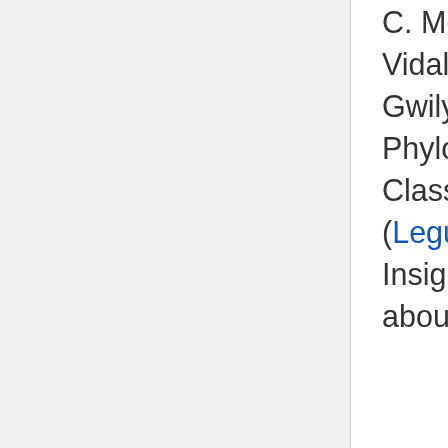C. Melanie Wilmot-Dear, Marcelo F. Simon, Vidal F. Mansano, Tadashi Kajita and Gwilym P. Lewis 2016 A Molecular Phylogeny and New Infrageneric Classification of Mucuna Adans. (Leguminosae-Papilionoideae) including Insights from Morphology and Hypotheses about Biogeography Int. J. Plant Sci.